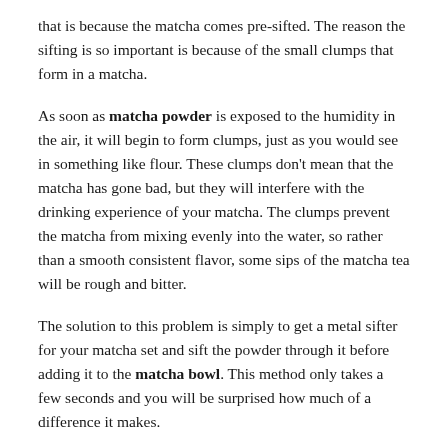that is because the matcha comes pre-sifted. The reason the sifting is so important is because of the small clumps that form in a matcha.
As soon as matcha powder is exposed to the humidity in the air, it will begin to form clumps, just as you would see in something like flour. These clumps don't mean that the matcha has gone bad, but they will interfere with the drinking experience of your matcha. The clumps prevent the matcha from mixing evenly into the water, so rather than a smooth consistent flavor, some sips of the matcha tea will be rough and bitter.
The solution to this problem is simply to get a metal sifter for your matcha set and sift the powder through it before adding it to the matcha bowl. This method only takes a few seconds and you will be surprised how much of a difference it makes.
MATCHA SET UTENSIL #5: